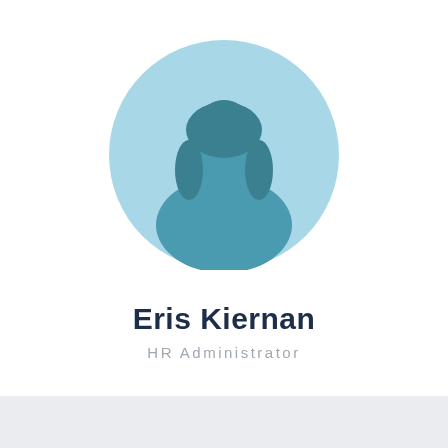[Figure (illustration): Circular avatar placeholder with light blue background and teal female silhouette icon]
Eris Kiernan
HR Administrator